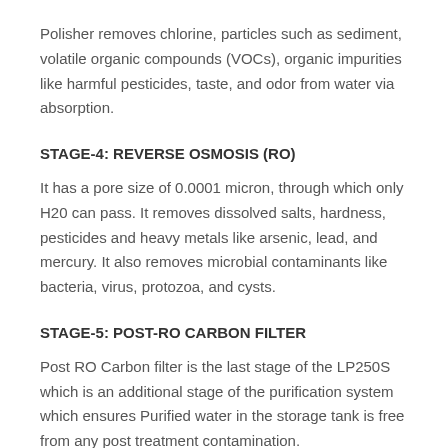Polisher removes chlorine, particles such as sediment, volatile organic compounds (VOCs), organic impurities like harmful pesticides, taste, and odor from water via absorption.
STAGE-4: REVERSE OSMOSIS (RO)
It has a pore size of 0.0001 micron, through which only H20 can pass. It removes dissolved salts, hardness, pesticides and heavy metals like arsenic, lead, and mercury. It also removes microbial contaminants like bacteria, virus, protozoa, and cysts.
STAGE-5: POST-RO CARBON FILTER
Post RO Carbon filter is the last stage of the LP250S which is an additional stage of the purification system which ensures Purified water in the storage tank is free from any post treatment contamination.